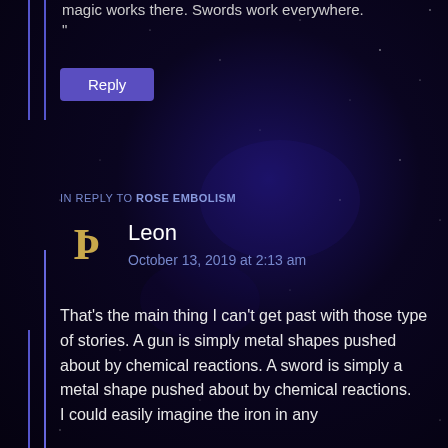magic works there. Swords work everywhere.
"
Reply
IN REPLY TO ROSE EMBOLISM
Leon
October 13, 2019 at 2:13 am
That's the main thing I can't get past with those type of stories. A gun is simply metal shapes pushed about by chemical reactions. A sword is simply a metal shape pushed about by chemical reactions.
I could easily imagine the iron in any